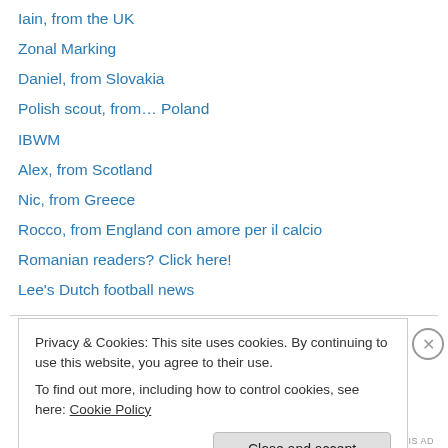Iain, from the UK
Zonal Marking
Daniel, from Slovakia
Polish scout, from… Poland
IBWM
Alex, from Scotland
Nic, from Greece
Rocco, from England con amore per il calcio
Romanian readers? Click here!
Lee's Dutch football news
Partners
Privacy & Cookies: This site uses cookies. By continuing to use this website, you agree to their use.
To find out more, including how to control cookies, see here: Cookie Policy